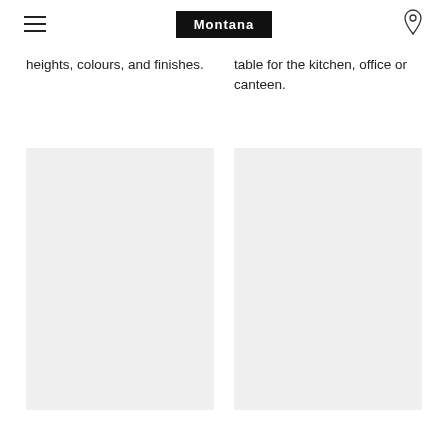Montana
heights, colours, and finishes.
table for the kitchen, office or canteen.
[Figure (photo): Gray placeholder image (left)]
[Figure (photo): Gray placeholder image (right)]